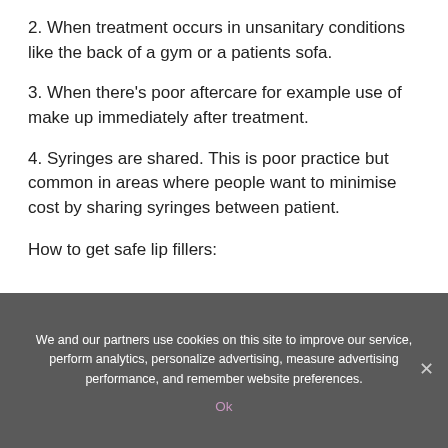2. When treatment occurs in unsanitary conditions like the back of a gym or a patients sofa.
3. When there’s poor aftercare for example use of make up immediately after treatment.
4. Syringes are shared. This is poor practice but common in areas where people want to minimise cost by sharing syringes between patient.
How to get safe lip fillers:
We and our partners use cookies on this site to improve our service, perform analytics, personalize advertising, measure advertising performance, and remember website preferences.
Ok